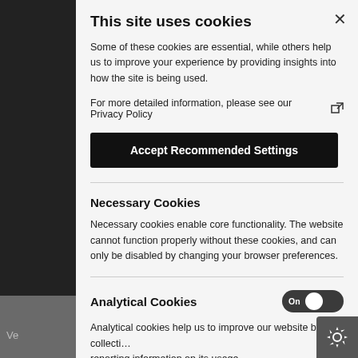This site uses cookies
Some of these cookies are essential, while others help us to improve your experience by providing insights into how the site is being used.
For more detailed information, please see our Privacy Policy
Accept Recommended Settings
Necessary Cookies
Necessary cookies enable core functionality. The website cannot function properly without these cookies, and can only be disabled by changing your browser preferences.
Analytical Cookies
Analytical cookies help us to improve our website by collecting reporting information on its usage.